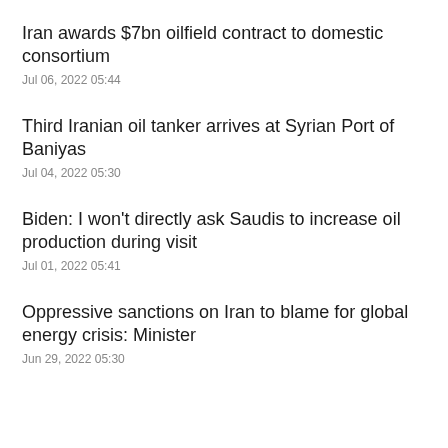Iran awards $7bn oilfield contract to domestic consortium
Jul 06, 2022 05:44
Third Iranian oil tanker arrives at Syrian Port of Baniyas
Jul 04, 2022 05:30
Biden: I won't directly ask Saudis to increase oil production during visit
Jul 01, 2022 05:41
Oppressive sanctions on Iran to blame for global energy crisis: Minister
Jun 29, 2022 05:30